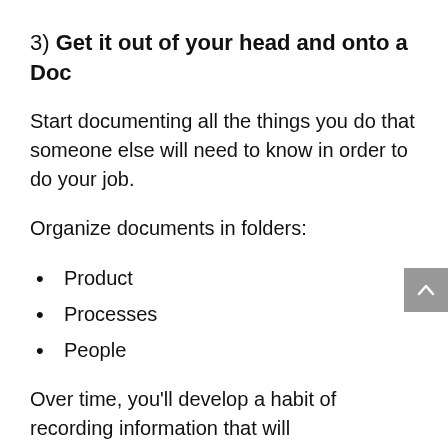3) Get it out of your head and onto a Doc
Start documenting all the things you do that someone else will need to know in order to do your job.
Organize documents in folders:
Product
Processes
People
Over time, you'll develop a habit of recording information that will